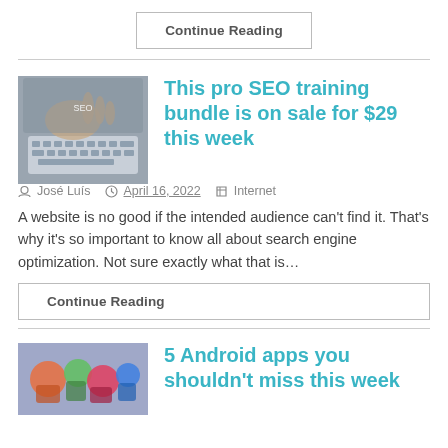Continue Reading
[Figure (photo): Hands typing on a laptop keyboard, close-up shot]
This pro SEO training bundle is on sale for $29 this week
José Luís   April 16, 2022   Internet
A website is no good if the intended audience can't find it. That's why it's so important to know all about search engine optimization. Not sure exactly what that is…
Continue Reading
[Figure (photo): Colorful animated characters, Android apps article thumbnail]
5 Android apps you shouldn't miss this week